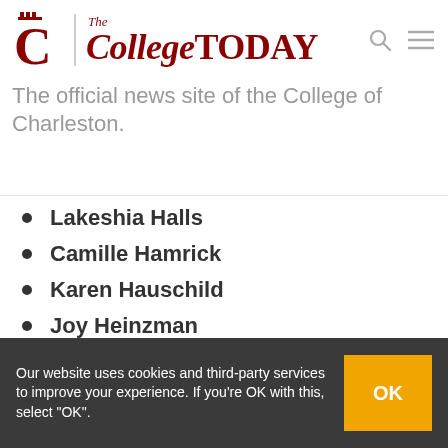The College TODAY — The official news site of the College of Charleston.
The official news site of the College of Charleston.
Lakeshia Halls
Camille Hamrick
Karen Hauschild
Joy Heinzman
Johnathon Troy Johnson
Cody Keats
Lynda Keller
Our website uses cookies and third-party services to improve your experience. If you're OK with this, select "OK".